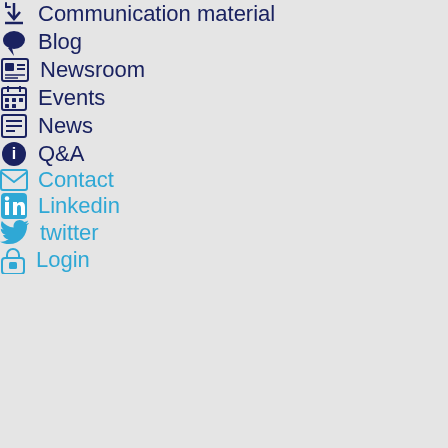Communication material
Blog
Newsroom
Events
News
Q&A
Contact
Linkedin
twitter
Login